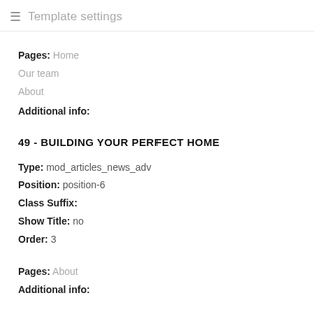≡  Template settings
Pages: Home
Our team
About
Additional info:
49 - BUILDING YOUR PERFECT HOME
Type: mod_articles_news_adv
Position: position-6
Class Suffix:
Show Title: no
Order: 3
Pages: About
Additional info: